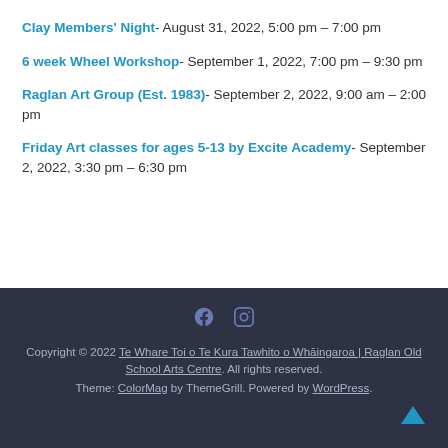Clay Members' Night- August 31, 2022, 5:00 pm – 7:00 pm
6 week Wheel Workshop- September 1, 2022, 7:00 pm – 9:30 pm
Raglan Art Group (Est. 1983)- September 2, 2022, 9:00 am – 2:00 pm
Friday Art classes for ages 5-13 by Excite Academy- September 2, 2022, 3:30 pm – 6:30 pm
Copyright © 2022 Te Whare Toi o Te Kura Tawhito o Whāingaroa | Raglan Old School Arts Centre. All rights reserved. Theme: ColorMag by ThemeGrill. Powered by WordPress.